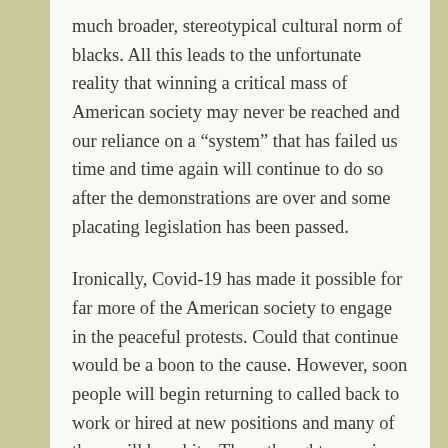much broader, stereotypical cultural norm of blacks. All this leads to the unfortunate reality that winning a critical mass of American society may never be reached and our reliance on a “system” that has failed us time and time again will continue to do so after the demonstrations are over and some placating legislation has been passed.
Ironically, Covid-19 has made it possible for far more of the American society to engage in the peaceful protests. Could that continue would be a boon to the cause. However, soon people will begin returning to called back to work or hired at new positions and many of them will be white. There thoughts, passions ans commitment will be competing against getting back into familiar routines. Our ability to maintain a critical mass of